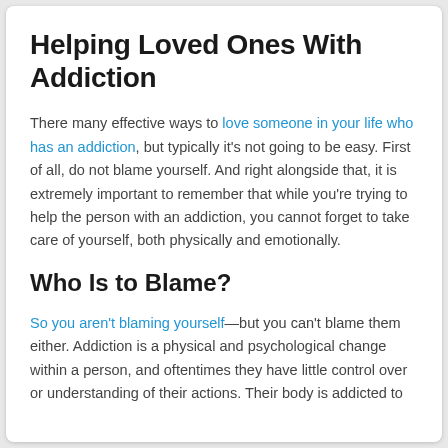Helping Loved Ones With Addiction
There many effective ways to love someone in your life who has an addiction, but typically it's not going to be easy. First of all, do not blame yourself. And right alongside that, it is extremely important to remember that while you're trying to help the person with an addiction, you cannot forget to take care of yourself, both physically and emotionally.
Who Is to Blame?
So you aren't blaming yourself—but you can't blame them either. Addiction is a physical and psychological change within a person, and oftentimes they have little control over or understanding of their actions. Their body is addicted to